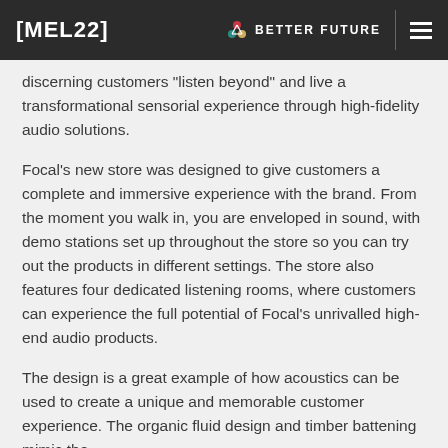[MEL22]  ✳ BETTER FUTURE  ≡
discerning customers "listen beyond" and live a transformational sensorial experience through high-fidelity audio solutions.
Focal's new store was designed to give customers a complete and immersive experience with the brand. From the moment you walk in, you are enveloped in sound, with demo stations set up throughout the store so you can try out the products in different settings. The store also features four dedicated listening rooms, where customers can experience the full potential of Focal's unrivalled high-end audio products.
The design is a great example of how acoustics can be used to create a unique and memorable customer experience. The organic fluid design and timber battening mimic the